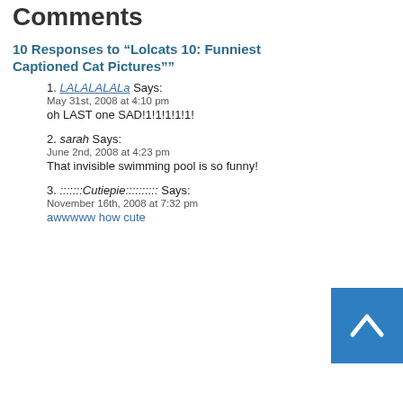Comments
10 Responses to “Lolcats 10: Funniest Captioned Cat Pictures””
1. LALALALALa Says:
May 31st, 2008 at 4:10 pm
oh LAST one SAD!1!1!1!1!1!
2. sarah Says:
June 2nd, 2008 at 4:23 pm
That invisible swimming pool is so funny!
3. :::::::Cutiepie:::::::::: Says:
November 16th, 2008 at 7:32 pm
awwwww how cute
[Figure (other): Back to top button: blue square with white upward-pointing chevron/arrow]